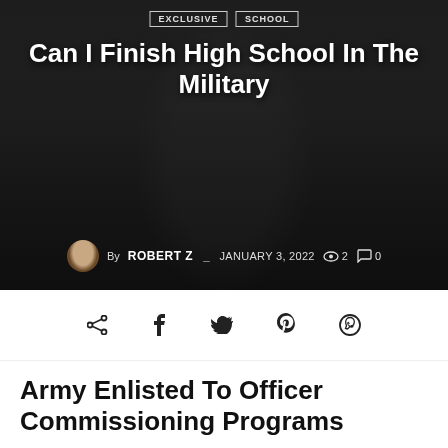[Figure (photo): Hero image with military person in camouflage, dark background with article title overlay]
Can I Finish High School In The Military
By ROBERT Z _ JANUARY 3, 2022  👁 2  🗨 0
[Figure (infographic): Social share icons: share, facebook, twitter, pinterest, whatsapp]
Army Enlisted To Officer Commissioning Programs
[Figure (photo): Young man holding camera up to his face, standing in a room with white appliances on the left and curtains on the right]